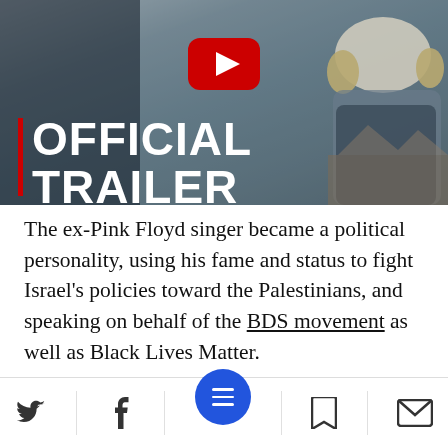[Figure (screenshot): YouTube video thumbnail showing a person in military/rescue gear with hard hat, with text OFFICIAL TRAILER and a red YouTube play button overlay. Scene appears to be a conflict/disaster zone.]
The ex-Pink Floyd singer became a political personality, using his fame and status to fight Israel's policies toward the Palestinians, and speaking on behalf of the BDS movement as well as Black Lives Matter.
Groups and individuals took to Twitter over the…
[Figure (screenshot): Mobile app bottom navigation bar with Twitter, Facebook, menu (hamburger in blue circle), bookmark, and email/envelope icons.]